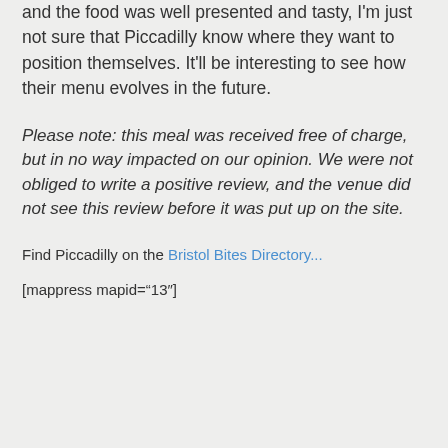and the food was well presented and tasty, I'm just not sure that Piccadilly know where they want to position themselves. It'll be interesting to see how their menu evolves in the future.
Please note: this meal was received free of charge, but in no way impacted on our opinion. We were not obliged to write a positive review, and the venue did not see this review before it was put up on the site.
Find Piccadilly on the Bristol Bites Directory...
[mappress mapid="13"]